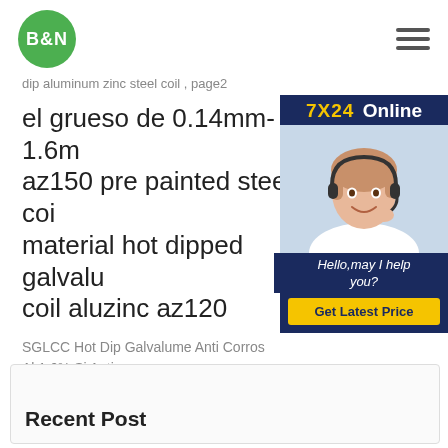B&N
dip aluminum zinc steel coil , page2
el grueso de 0.14mm-1.6m az150 pre painted steel coi material hot dipped galvalu coil aluzinc az120
SGLCC Hot Dip Galvalume Anti Corros Al 1.6% Si Anti
[Figure (photo): Customer service representative (woman with headset) in a sidebar advertisement panel with 7X24 Online label, Hello may I help you? text, and Get Latest Price button on dark blue background]
Recent Post